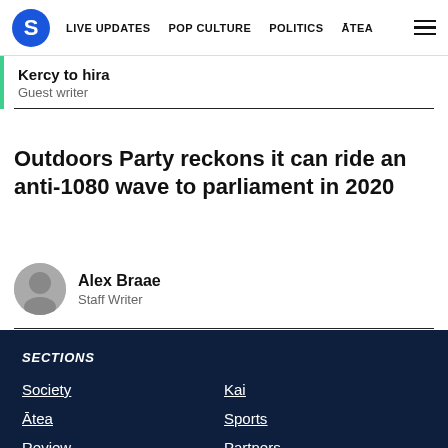S | LIVE UPDATES | POP CULTURE | POLITICS | ĀTEA
Kercy to hira
Guest writer
Outdoors Party reckons it can ride an anti-1080 wave to parliament in 2020
Alex Braae
Staff Writer
SECTIONS
Society | Kai
Ātea | Sports
Review | Partners